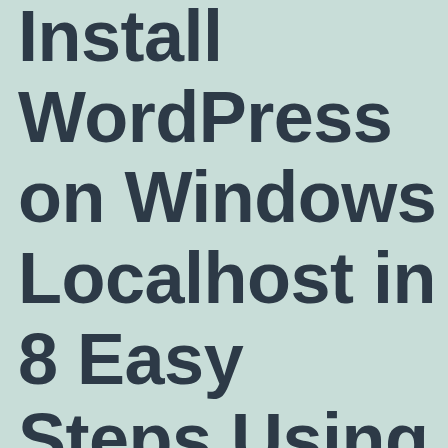Install WordPress on Windows Localhost in 8 Easy Steps Using XAMPP